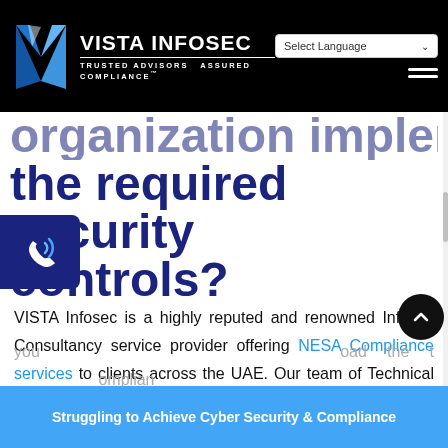VISTA INFOSEC — TRUSTED ADVISORS  ASSURED COMPLIANCE™ | Select Language | Menu
organization implement the required security controls?
VISTA Infosec is a highly reputed and renowned Infosec Consultancy service provider offering NESA Compliance services to clients across the UAE. Our team of Technical Advisors can help you manage your Information Security requirements of NESA Standard with ease and strengthen your IT Infrastructure security systems. We can help
Struggling to Achieve Cyber Security & Compliance